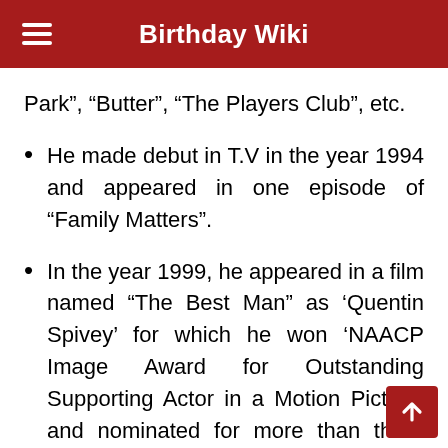Birthday Wiki
Park”, “Butter”, “The Players Club”, etc.
He made debut in T.V in the year 1994 and appeared in one episode of “Family Matters”.
In the year 1999, he appeared in a film named “The Best Man” as ‘Quentin Spivey’ for which he won ‘NAACP Image Award for Outstanding Supporting Actor in a Motion Picture’ and nominated for more than three awards.